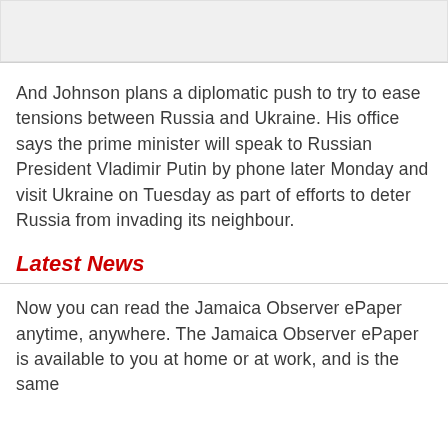[Figure (other): Gray placeholder image area at top of page]
And Johnson plans a diplomatic push to try to ease tensions between Russia and Ukraine. His office says the prime minister will speak to Russian President Vladimir Putin by phone later Monday and visit Ukraine on Tuesday as part of efforts to deter Russia from invading its neighbour.
Latest News
Now you can read the Jamaica Observer ePaper anytime, anywhere. The Jamaica Observer ePaper is available to you at home or at work, and is the same